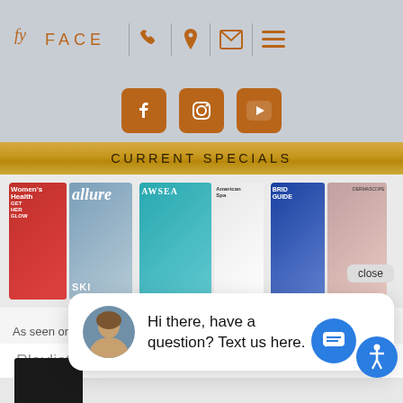[Figure (screenshot): Website header with FACE logo, navigation icons (phone, location, email, menu), and social media buttons (Facebook, Instagram, YouTube) on a gray background]
CURRENT SPECIALS
[Figure (photo): Row of magazine covers including Women's Health, Allure, AWSEM, American Spa, BRIDE GUIDE, and Dermascope]
As seen on:
[Figure (screenshot): Network logos: ABC, NBC, Fox, and others]
Hi there, have a question? Text us here.
close
Playlist
5 Videos